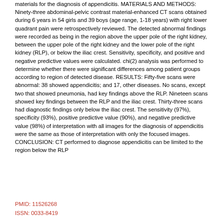materials for the diagnosis of appendicitis. MATERIALS AND METHODS: Ninety-three abdominal-pelvic contrast material-enhanced CT scans obtained during 6 years in 54 girls and 39 boys (age range, 1-18 years) with right lower quadrant pain were retrospectively reviewed. The detected abnormal findings were recorded as being in the region above the upper pole of the right kidney, between the upper pole of the right kidney and the lower pole of the right kidney (RLP), or below the iliac crest. Sensitivity, specificity, and positive and negative predictive values were calculated. chi(2) analysis was performed to determine whether there were significant differences among patient groups according to region of detected disease. RESULTS: Fifty-five scans were abnormal: 38 showed appendicitis; and 17, other diseases. No scans, except two that showed pneumonia, had key findings above the RLP. Nineteen scans showed key findings between the RLP and the iliac crest. Thirty-three scans had diagnostic findings only below the iliac crest. The sensitivity (97%), specificity (93%), positive predictive value (90%), and negative predictive value (98%) of interpretation with all images for the diagnosis of appendicitis were the same as those of interpretation with only the focused images. CONCLUSION: CT performed to diagnose appendicitis can be limited to the region below the RLP
PMID: 11526268
ISSN: 0033-8419